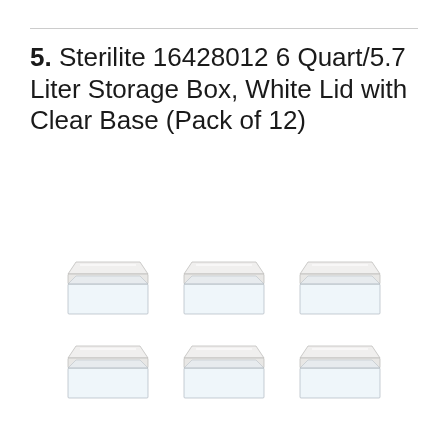5. Sterilite 16428012 6 Quart/5.7 Liter Storage Box, White Lid with Clear Base (Pack of 12)
[Figure (illustration): Six Sterilite storage boxes arranged in two rows of three, each with a white lid and clear transparent base.]